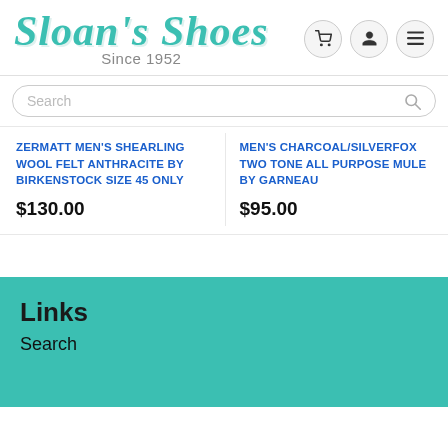Sloan's Shoes Since 1952
Search
ZERMATT MEN'S SHEARLING WOOL FELT ANTHRACITE BY BIRKENSTOCK SIZE 45 ONLY $130.00
MEN'S CHARCOAL/SILVERFOX TWO TONE ALL PURPOSE MULE BY GARNEAU $95.00
Links
Search